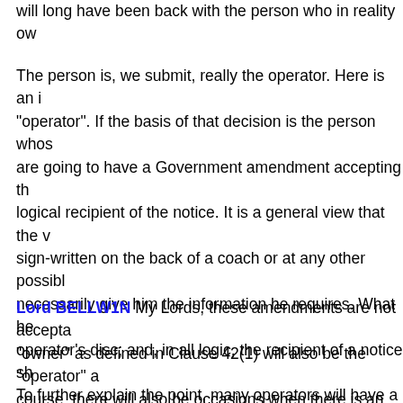will long have been back with the person who in reality ow
The person is, we submit, really the operator. Here is an i "operator". If the basis of that decision is the person whos are going to have a Government amendment accepting th logical recipient of the notice. It is a general view that the v sign-written on the back of a coach or at any other possibl necessarily give him the information he requires. What he operator's disc; and, in all logic, the recipient of a notice sh To further explain the point, many operators will have a tra something like "Sunny Tours", while the disc may show "(B different. Therefore, it is maintained that in all circumstanc should be to the operator, and not to the owner. That is the move them both.
Lord BELLW1N My Lords, these amendments are not accepta "owner" as defined in Clause 42(1) will also be the "operator" a course, there will also be occasions when there is an owner bu supplant the owner in the subsection, it would be necessary to by whom the vehicle is being or was last used. In some cases not be the most appropriate person to receive the notice. "Ow